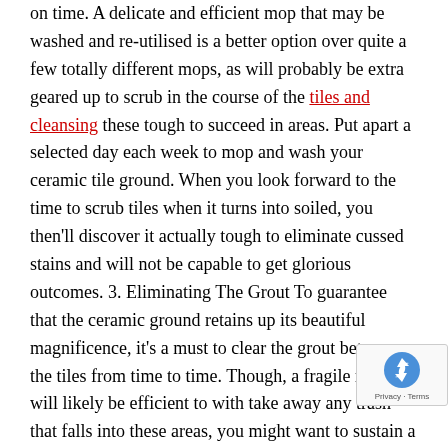on time. A delicate and efficient mop that may be washed and re-utilised is a better option over quite a few totally different mops, as will probably be extra geared up to scrub in the course of the tiles and cleansing these tough to succeed in areas. Put apart a selected day each week to mop and wash your ceramic tile ground. When you look forward to the time to scrub tiles when it turns into soiled, you then'll discover it actually tough to eliminate cussed stains and will not be capable to get glorious outcomes. 3. Eliminating The Grout To guarantee that the ceramic ground retains up its beautiful magnificence, it's a must to clear the grout between the tiles from time to time. Though, a fragile mop will likely be efficient to with take away any trash that falls into these areas, you might want to sustain a timetable for cleansing the grout too. It isn't necessary to do that on each week, nevertheless, this sho completed constantly to keep away from build-up of grout b the tiles. Grout and tile cleaners are a wonderful alternative for this
[Figure (other): reCAPTCHA badge with Privacy and Terms links]